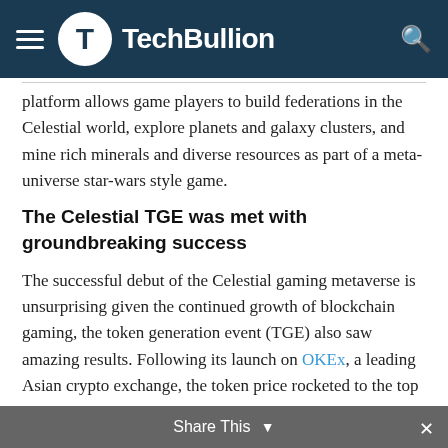TechBullion
platform allows game players to build federations in the Celestial world, explore planets and galaxy clusters, and mine rich minerals and diverse resources as part of a meta-universe star-wars style game.
The Celestial TGE was met with groundbreaking success
The successful debut of the Celestial gaming metaverse is unsurprising given the continued growth of blockchain gaming, the token generation event (TGE) also saw amazing results. Following its launch on OKEx, a leading Asian crypto exchange, the token price rocketed to the top gainers’ category.
CELT is Celestial metaverse’s native token, and it is the token economy that powers the gaming platform. Within